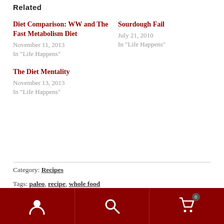Related
Diet Comparison: WW and The Fast Metabolism Diet
November 11, 2013
In "Life Happens"
Sourdough Fail
July 21, 2010
In "Life Happens"
The Diet Mentality
November 13, 2013
In "Life Happens"
Category: Recipes
Tags: paleo, recipe, whole food
← NaNoWriMo 2013 Day 4
Diet Comparison: WW and The Fast Metabolism Diet →